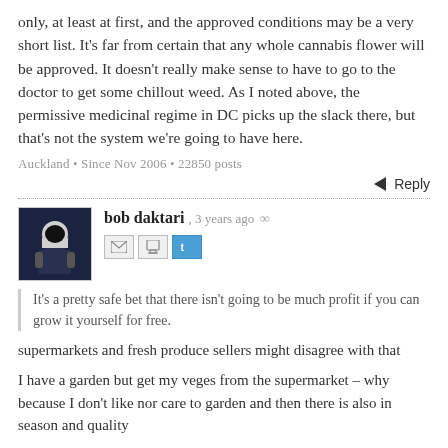only, at least at first, and the approved conditions may be a very short list. It's far from certain that any whole cannabis flower will be approved. It doesn't really make sense to have to go to the doctor to get some chillout weed. As I noted above, the permissive medicinal regime in DC picks up the slack there, but that's not the system we're going to have here.
Auckland • Since Nov 2006 • 22850 posts
← Reply
bob daktari, 3 years ago ∞
It's a pretty safe bet that there isn't going to be much profit if you can grow it yourself for free.
supermarkets and fresh produce sellers might disagree with that
I have a garden but get my veges from the supermarket – why because I don't like nor care to garden and then there is also in season and quality